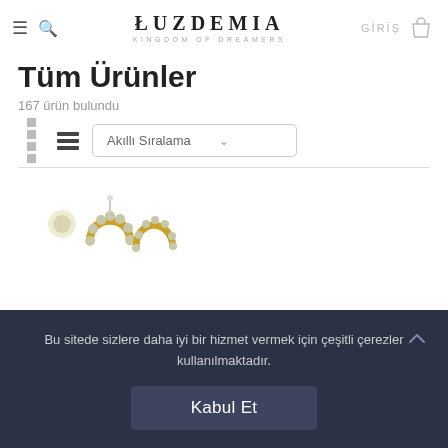LUZDEMIA KINGDOM OF DREAMERS — GİRİŞ
Tüm Ürünler
167 ürün bulundu
Akıllı Sıralama
[Figure (photo): Two gold hoop earrings with small beads/pearls, one shown from front and one from side angle, on white background]
Bu sitede sizlere daha iyi bir hizmet vermek için çeşitli çerezler kullanılmaktadır.
Kabul Et